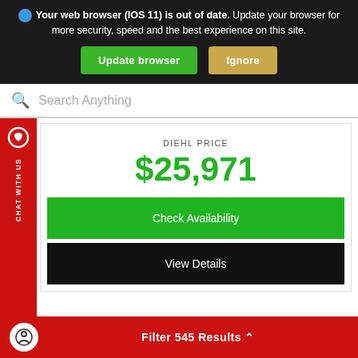Your web browser (IOS 11) is out of date. Update your browser for more security, speed and the best experience on this site.
Update browser | Ignore
Search Anything
CHAT WITH US
DIEHL PRICE
$25,971
Check Availability
View Details
Diehl Of Butler
724.256.4827
Filter 545 Results ^